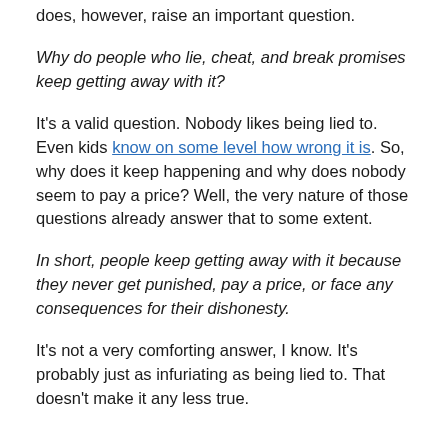does, however, raise an important question.
Why do people who lie, cheat, and break promises keep getting away with it?
It's a valid question. Nobody likes being lied to. Even kids know on some level how wrong it is. So, why does it keep happening and why does nobody seem to pay a price? Well, the very nature of those questions already answer that to some extent.
In short, people keep getting away with it because they never get punished, pay a price, or face any consequences for their dishonesty.
It's not a very comforting answer, I know. It's probably just as infuriating as being lied to. That doesn't make it any less true.